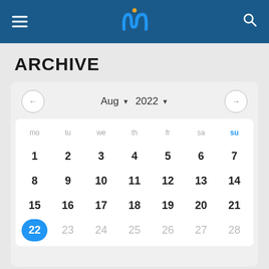UI/UX website header with logo, menu icon, and search icon
ARCHIVE
[Figure (screenshot): August 2022 calendar archive widget showing month navigation with back/forward arrows, day-of-week headers (mo, tu, we, th, fr, sa, su), dates 1-28 visible, with date 22 highlighted in blue as selected/current date]